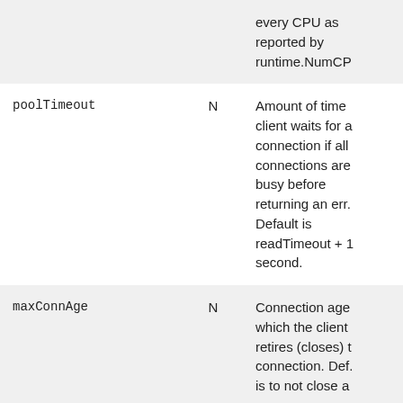| Parameter | Required | Description |
| --- | --- | --- |
|  | N | every CPU as reported by runtime.NumCP... |
| poolTimeout | N | Amount of time client waits for a connection if all connections are busy before returning an err. Default is readTimeout + 1 second. |
| maxConnAge | N | Connection age at which the client retires (closes) the connection. Def... is to not close a... |